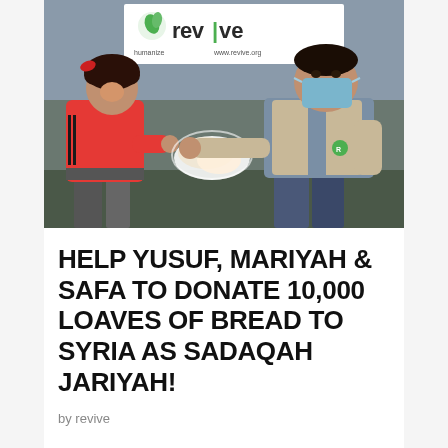[Figure (photo): A masked relief worker in a tan vest crouches down to hand bread loaves to a young child in a red tracksuit jacket. A white banner in the background reads 'revive' with a green leaf logo.]
HELP YUSUF, MARIYAH & SAFA TO DONATE 10,000 LOAVES OF BREAD TO SYRIA AS SADAQAH JARIYAH!
by revive